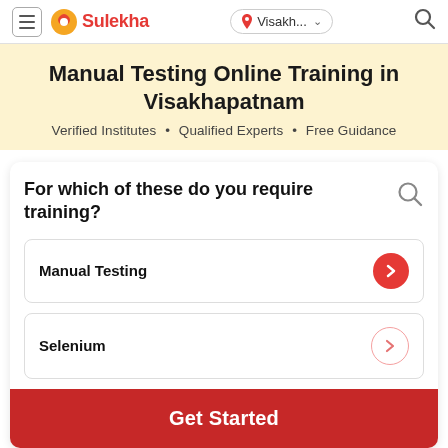Sulekha — Visakh... (navigation bar)
Manual Testing Online Training in Visakhapatnam
Verified Institutes • Qualified Experts • Free Guidance
For which of these do you require training?
Manual Testing
Selenium
Get Started
How Sulekha works?